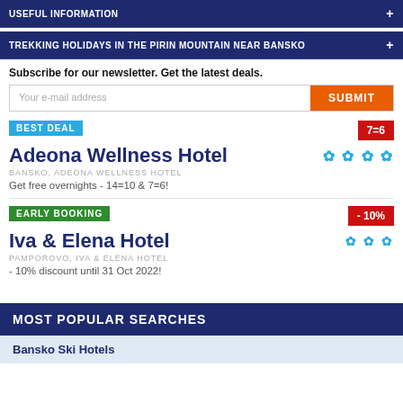USEFUL INFORMATION
TREKKING HOLIDAYS IN THE PIRIN MOUNTAIN NEAR BANSKO
Subscribe for our newsletter. Get the latest deals.
Your e-mail address
SUBMIT
BEST DEAL
7=6
Adeona Wellness Hotel
BANSKO, ADEONA WELLNESS HOTEL
Get free overnights - 14=10 & 7=6!
EARLY BOOKING
- 10%
Iva & Elena Hotel
PAMPOROVO, IVA & ELENA HOTEL
- 10% discount until 31 Oct 2022!
MOST POPULAR SEARCHES
Bansko Ski Hotels